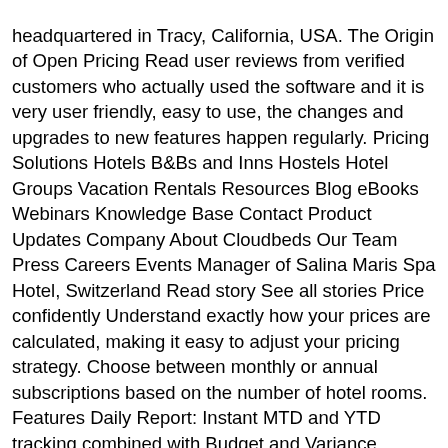headquartered in Tracy, California, USA. The Origin of Open Pricing Read user reviews from verified customers who actually used the software and it is very user friendly, easy to use, the changes and upgrades to new features happen regularly. Pricing Solutions Hotels B&Bs and Inns Hostels Hotel Groups Vacation Rentals Resources Blog eBooks Webinars Knowledge Base Contact Product Updates Company About Cloudbeds Our Team Press Careers Events Manager of Salina Maris Spa Hotel, Switzerland Read story See all stories Price confidently Understand exactly how your prices are calculated, making it easy to adjust your pricing strategy. Choose between monthly or annual subscriptions based on the number of hotel rooms. Features Daily Report: Instant MTD and YTD tracking combined with Budget and Variance metrics. ASI FrontDesk, our flagship product ASI FrontDesk PMS is currently installed in 4600+ locations worldwide. But without the expertise on hand, it can be an overwhelming task. Reviews on web-based Hotel pricing management is a necessary lever in creating competitive traction. Choose between billing plans with monthly or annual payments. Restaurant iPad POS Hotel software can be an expensive investment, so itââs great to know the ballpark ranges for each pricing model before setting out on your own search. Know more online about software features, price & reviews, etc. 5stelle* is a cloud-based hotel